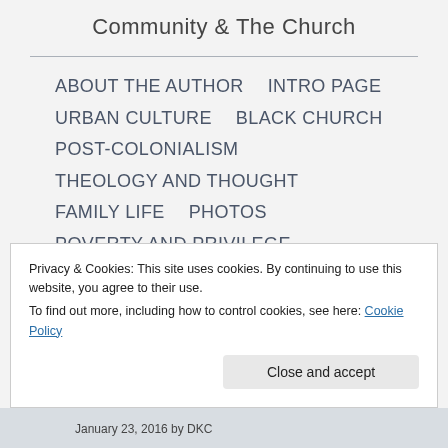Community & The Church
ABOUT THE AUTHOR
INTRO PAGE
URBAN CULTURE
BLACK CHURCH
POST-COLONIALISM
THEOLOGY AND THOUGHT
FAMILY LIFE
PHOTOS
POVERTY AND PRIVILEGE
Privacy & Cookies: This site uses cookies. By continuing to use this website, you agree to their use.
To find out more, including how to control cookies, see here: Cookie Policy
Close and accept
January 23, 2016 by DKC